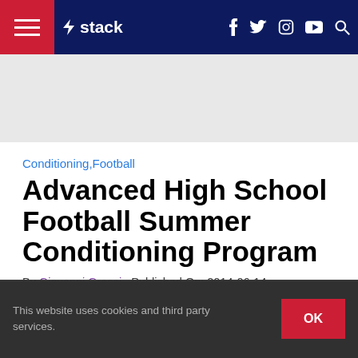stack — navigation bar with hamburger menu, logo, social icons (f, twitter, instagram, youtube), search
[Figure (other): Gray advertisement banner area]
Conditioning,Football
Advanced High School Football Summer Conditioning Program
By Giovanni Grassi   Published On: 2014-06-14
[Figure (other): Black video/image area]
This website uses cookies and third party services.